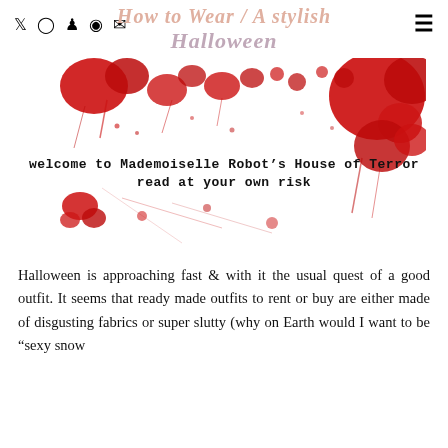How to Wear / A stylish Halloween
[Figure (illustration): Blood splatter image on white background with text overlay: 'welcome to Mademoiselle Robot's House of Terror / read at your own risk']
Halloween is approaching fast & with it the usual quest of a good outfit. It seems that ready made outfits to rent or buy are either made of disgusting fabrics or super slutty (why on Earth would I want to be "sexy snow